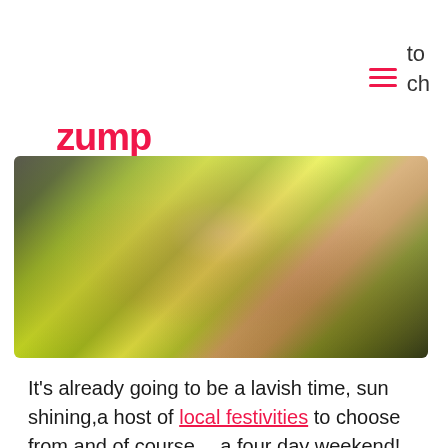zump
to
ch
[Figure (photo): Blurred outdoor photo showing people in yellow/green surroundings, possibly a festival or outdoor event]
It's already going to be a lavish time, sun shining,a host of local festivities to choose from and of course… a four day weekend! There's only one thing that could